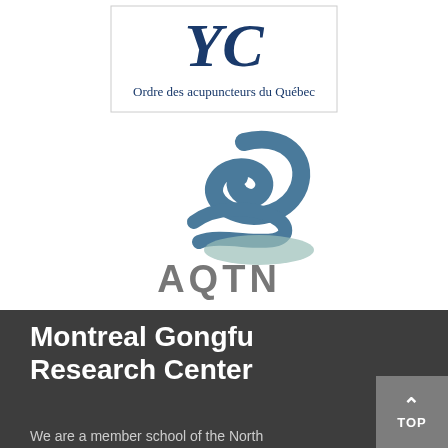[Figure (logo): Ordre des acupuncteurs du Québec logo — blue stylized YC letters above the text 'Ordre des acupuncteurs du Québec' in a bordered box]
[Figure (logo): AQTN logo — blue-gray swirling brushstroke design above the letters AQTN in gray]
Montreal Gongfu Research Center
We are a member school of the North